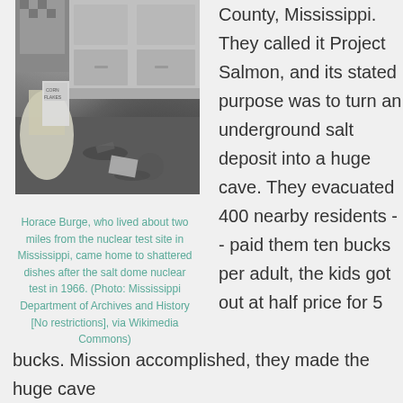[Figure (photo): Black and white photo of a messy kitchen interior with shattered dishes and debris on the floor, chairs visible, cabinets in background.]
Horace Burge, who lived about two miles from the nuclear test site in Mississippi, came home to shattered dishes after the salt dome nuclear test in 1966. (Photo: Mississippi Department of Archives and History [No restrictions], via Wikimedia Commons)
County, Mississippi. They called it Project Salmon, and its stated purpose was to turn an underground salt deposit into a huge cave. They evacuated 400 nearby residents -- paid them ten bucks per adult, the kids got out at half price for 5 bucks. Mission accomplished, they made the huge cave